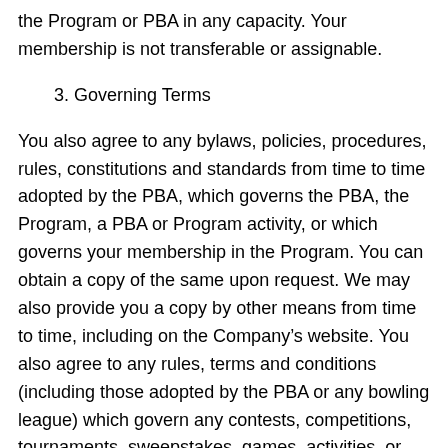the Program or PBA in any capacity. Your membership is not transferable or assignable.
3. Governing Terms
You also agree to any bylaws, policies, procedures, rules, constitutions and standards from time to time adopted by the PBA, which governs the PBA, the Program, a PBA or Program activity, or which governs your membership in the Program. You can obtain a copy of the same upon request. We may also provide you a copy by other means from time to time, including on the Company's website. You also agree to any rules, terms and conditions (including those adopted by the PBA or any bowling league) which govern any contests, competitions, tournaments, sweepstakes, games, activities, or matches in which you participate, register or enter in connection with the Program or membership in